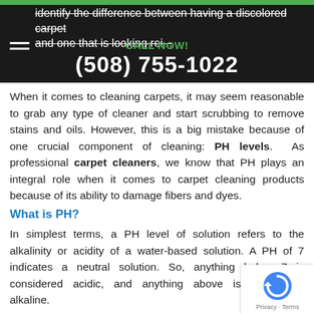identify the difference between having a discolored carpet and one that is looking rei... | CALL NOW! (508) 755-1022
When it comes to cleaning carpets, it may seem reasonable to grab any type of cleaner and start scrubbing to remove stains and oils. However, this is a big mistake because of one crucial component of cleaning: PH levels. As professional carpet cleaners, we know that PH plays an integral role when it comes to carpet cleaning products because of its ability to damage fibers and dyes.
What is PH?
In simplest terms, a PH level of solution refers to the alkalinity or acidity of a water-based solution. A PH of 7 indicates a neutral solution. So, anything below 7 is considered acidic, and anything above is considered alkaline.
PH Myth